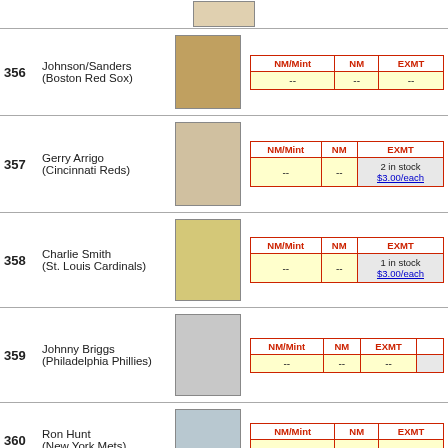| # | Player | Card | NM/Mint | NM | EXMT |
| --- | --- | --- | --- | --- | --- |
| 356 | Johnson/Sanders (Boston Red Sox) | [card image] | -- | -- | -- |
| 357 | Gerry Arrigo (Cincinnati Reds) | [card image] | -- | -- | 2 in stock $3.00/each |
| 358 | Charlie Smith (St. Louis Cardinals) | [card image] | -- | -- | 1 in stock $3.00/each |
| 359 | Johnny Briggs (Philadelphia Phillies) | [card image] | -- | -- | ... |
| 360 | Ron Hunt (New York Mets) | [card image] | -- | -- | -- |